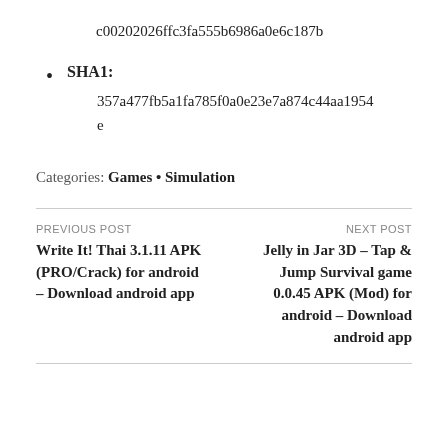c00202026ffc3fa555b6986a0e6c187b
SHA1: 357a477fb5a1fa785f0a0e23e7a874c44aa1954e
Categories: Games • Simulation
PREVIOUS POST
Write It! Thai 3.1.11 APK (PRO/Crack) for android – Download android app
NEXT POST
Jelly in Jar 3D – Tap & Jump Survival game 0.0.45 APK (Mod) for android – Download android app